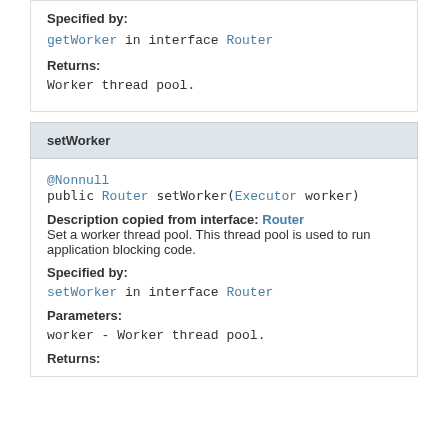Specified by:
getWorker in interface Router
Returns:
Worker thread pool.
setWorker
@Nonnull
public Router setWorker(Executor worker)
Description copied from interface: Router
Set a worker thread pool. This thread pool is used to run application blocking code.
Specified by:
setWorker in interface Router
Parameters:
worker - Worker thread pool.
Returns: